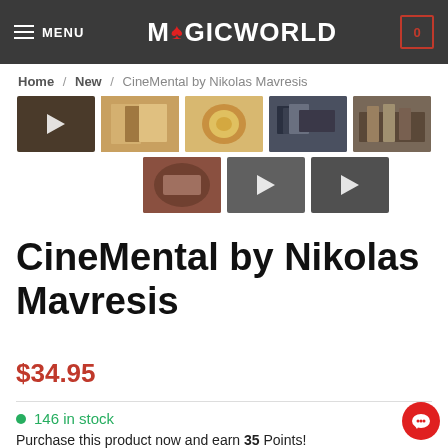MENU | MAGICWORLD | 0
Home / New / CineMental by Nikolas Mavresis
[Figure (screenshot): Product thumbnail gallery with 8 images/videos: first thumbnail shows a dark video with play button, followed by 4 photo thumbnails of card magic products, then a second row with 3 more thumbnails (one photo, two video placeholders with play buttons)]
CineMental by Nikolas Mavresis
$34.95
146 in stock
Purchase this product now and earn 35 Points!